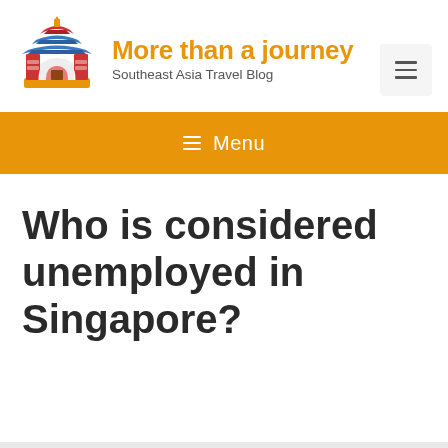[Figure (logo): Stylized Asian gate/pagoda building illustration in red, blue, orange colors — the blog logo]
More than a journey
Southeast Asia Travel Blog
[Figure (other): Hamburger menu icon (three horizontal lines) in a light grey rounded square button]
≡ Menu
Who is considered unemployed in Singapore?